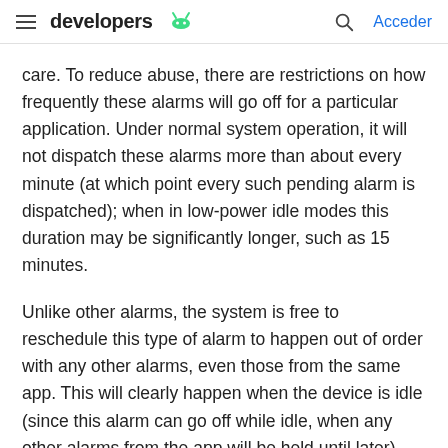developers [Android logo] | [Search icon] Acceder
care. To reduce abuse, there are restrictions on how frequently these alarms will go off for a particular application. Under normal system operation, it will not dispatch these alarms more than about every minute (at which point every such pending alarm is dispatched); when in low-power idle modes this duration may be significantly longer, such as 15 minutes.
Unlike other alarms, the system is free to reschedule this type of alarm to happen out of order with any other alarms, even those from the same app. This will clearly happen when the device is idle (since this alarm can go off while idle, when any other alarms from the app will be held until later), but may also happen even when not idle. Note that the OS will allow itself more flexibility for scheduling these alarms than regular exact alarms, since the application has opted into this behavior. When the device is idle it may take